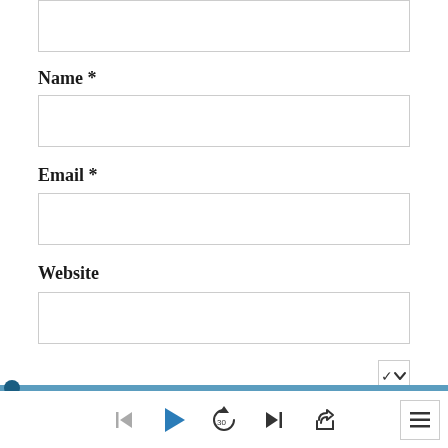[Figure (screenshot): A web form snippet showing a top input box (cropped), followed by Name *, Email *, and Website fields with empty input boxes, a dropdown chevron button, a progress bar with dot at left, and a media player control bar at the bottom with skip-back, play, replay-30, skip-forward, share, and menu buttons.]